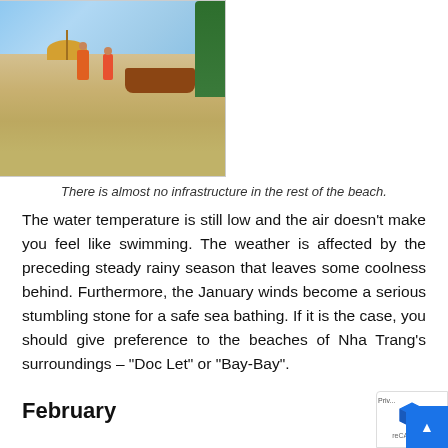[Figure (photo): Beach scene with sandy shore, blue sky, an umbrella, people standing near a boat, and a cart/wagon on the left. Trees visible on far right edge.]
There is almost no infrastructure in the rest of the beach.
The water temperature is still low and the air doesn't make you feel like swimming. The weather is affected by the preceding steady rainy season that leaves some coolness behind. Furthermore, the January winds become a serious stumbling stone for a safe sea bathing. If it is the case, you should give preference to the beaches of Nha Trang's surroundings – "Doc Let" or "Bay-Bay".
February